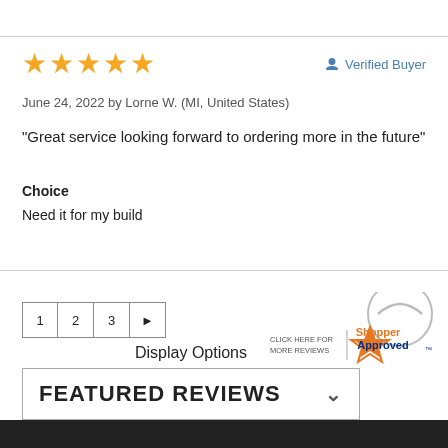[Figure (other): Five orange star rating icons]
Verified Buyer
June 24, 2022 by Lorne W. (MI, United States)
“Great service looking forward to ordering more in the future”
Choice
Need it for my build
1  2  3  ►
Display Options
FEATURED REVIEWS
[Figure (logo): Shopper Approved badge with CLICK HERE FOR MORE REVIEWS text]